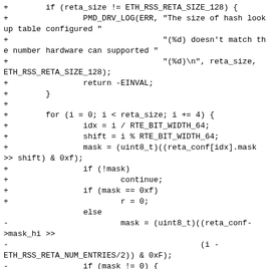[Figure (other): Code diff snippet showing C code for RSS RETA configuration with added (+) and removed (-) lines]